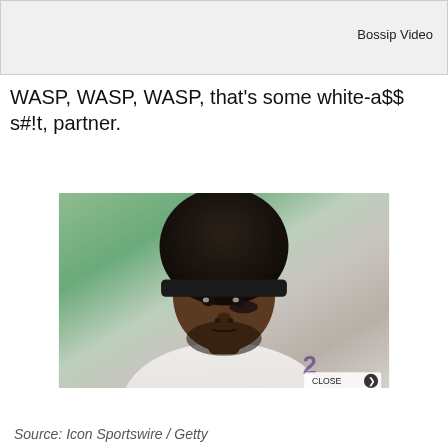[Figure (other): Bossip Video player box with label 'Bossip Video' at top right]
WASP, WASP, WASP, that's some white-a$$ s#!t, partner.
[Figure (photo): Photo of an NFL player wearing a Baltimore Ravens white jersey and black headband, with a large natural afro hairstyle, looking to the side. Eye black under one eye. CLOSE button with arrow visible at bottom right.]
Source: Icon Sportswire / Getty